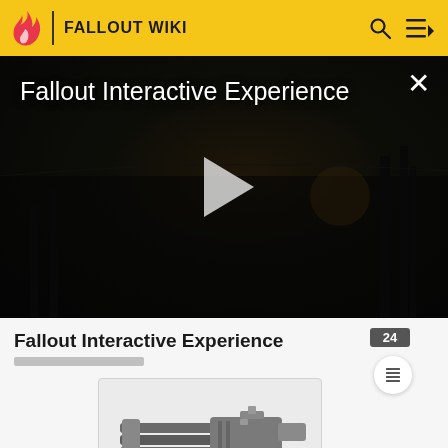FALLOUT WIKI
[Figure (screenshot): Video player showing dark post-apocalyptic scene with title 'Fallout Interactive Experience' and play button]
Fallout Interactive Experience
[Figure (illustration): Image of a Fallout game weapon (minigun/heavy weapon)]